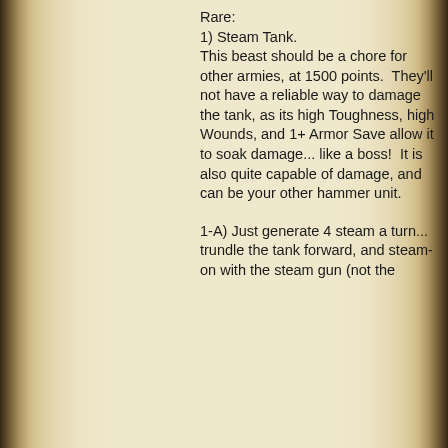Rare:
1) Steam Tank.
This beast should be a chore for other armies, at 1500 points.  They'll not have a reliable way to damage the tank, as its high Toughness, high Wounds, and 1+ Armor Save allow it to soak damage... like a boss!  It is also quite capable of damage, and can be your other hammer unit.
1-A) Just generate 4 steam a turn... trundle the tank forward, and steam-on with the steam gun (not the